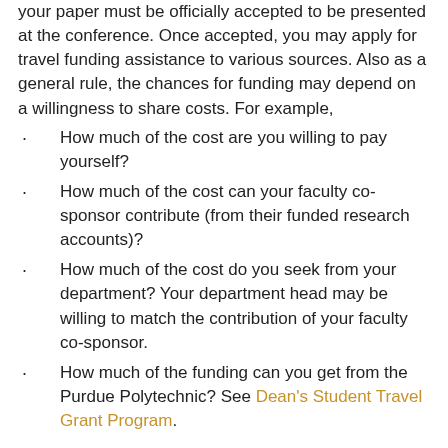your paper must be officially accepted to be presented at the conference. Once accepted, you may apply for travel funding assistance to various sources. Also as a general rule, the chances for funding may depend on a willingness to share costs. For example,
How much of the cost are you willing to pay yourself?
How much of the cost can your faculty co-sponsor contribute (from their funded research accounts)?
How much of the cost do you seek from your department? Your department head may be willing to match the contribution of your faculty co-sponsor.
How much of the funding can you get from the Purdue Polytechnic? See Dean's Student Travel Grant Program.
Career and Job Placement Services and Events
As you approach graduation, you may be looking for career counseling and job placement resources and services. See Purdue Center for Career Opportunities